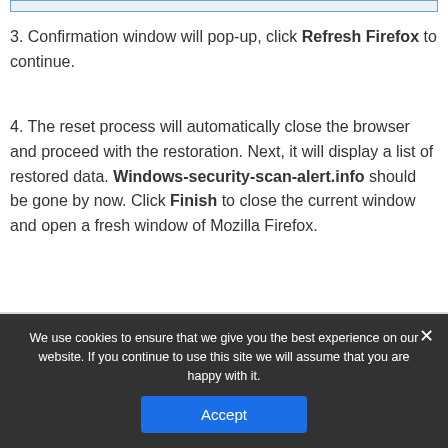[Figure (screenshot): Partial top bar / UI element at top of page]
3. Confirmation window will pop-up, click Refresh Firefox to continue.
4. The reset process will automatically close the browser and proceed with the restoration. Next, it will display a list of restored data. Windows-security-scan-alert.info should be gone by now. Click Finish to close the current window and open a fresh window of Mozilla Firefox.
About the author
We use cookies to ensure that we give you the best experience on our website. If you continue to use this site we will assume that you are happy with it.